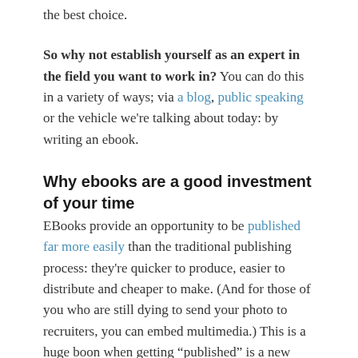the best choice.
So why not establish yourself as an expert in the field you want to work in? You can do this in a variety of ways; via a blog, public speaking or the vehicle we're talking about today: by writing an ebook.
Why ebooks are a good investment of your time
EBooks provide an opportunity to be published far more easily than the traditional publishing process: they're quicker to produce, easier to distribute and cheaper to make. (And for those of you who are still dying to send your photo to recruiters, you can embed multimedia.) This is a huge boon when getting “published” is a new form of street cred. When people are on talk shows now – whether they’re actors or physicists – they’re always introduced as “Big-Time Rich Person, author of Super